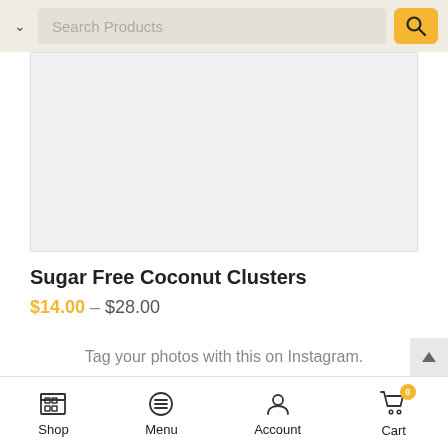Search Products
[Figure (photo): Product image area for Sugar Free Coconut Clusters, shown as light grey placeholder rectangle]
Sugar Free Coconut Clusters
$14.00 – $28.00
Tag your photos with this on Instagram.
Shop  Menu  Account  Cart